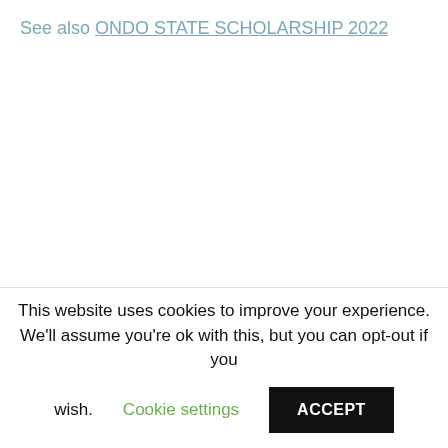See also  ONDO STATE SCHOLARSHIP 2022
This website uses cookies to improve your experience. We'll assume you're ok with this, but you can opt-out if you wish.  Cookie settings  ACCEPT